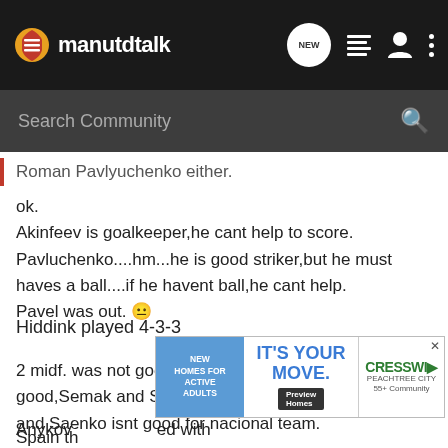manutdtalk
Roman Pavlyuchenko either.
ok.
Akinfeev is goalkeeper,he cant help to score.
Pavluchenko....hm...he is good striker,but he must haves a ball....if he havent ball,he cant help.
Pavel was out. 😐
Hiddink played 4-3-3
2 midf. was not good. if Zyryanov was a very good,Semak and Semshov was crap.
and Saenko isnt good for nacional team.
[Figure (other): Advertisement banner: New Homes For Active Adults / IT'S YOUR MOVE. / CRESSWI 55+ Community]
Anykov ... ed with Spain th...